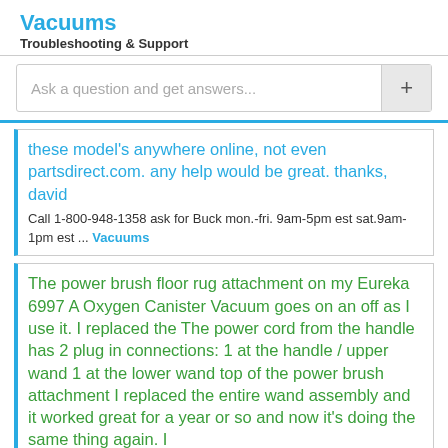Vacuums
Troubleshooting & Support
Ask a question and get answers...
these model's anywhere online, not even partsdirect.com. any help would be great. thanks, david
Call 1-800-948-1358 ask for Buck mon.-fri. 9am-5pm est sat.9am-1pm est ... Vacuums
The power brush floor rug attachment on my Eureka 6997 A Oxygen Canister Vacuum goes on an off as I use it. I replaced the The power cord from the handle has 2 plug in connections: 1 at the handle / upper wand 1 at the lower wand top of the power brush attachment I replaced the entire wand assembly and it worked great for a year or so and now it's doing the same thing again. I